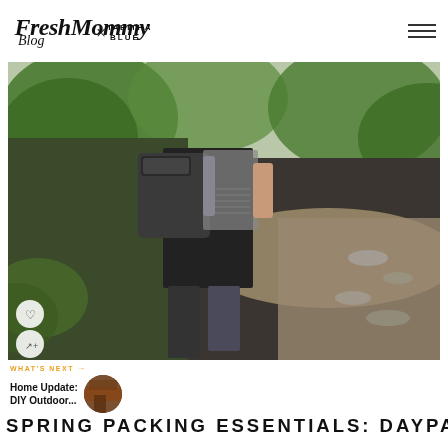Fresh Mommy Blog x TABITHA BLUE
[Figure (photo): Woman walking on a wooded path wearing a dark backpack, striped skirt, black leggings, and carrying a child. Green trees and foliage in background. Heart and share buttons visible on bottom left of photo.]
WHAT'S NEXT → Home Update: DIY Outdoor...
SPRING PACKING ESSENTIALS: DAYPACK